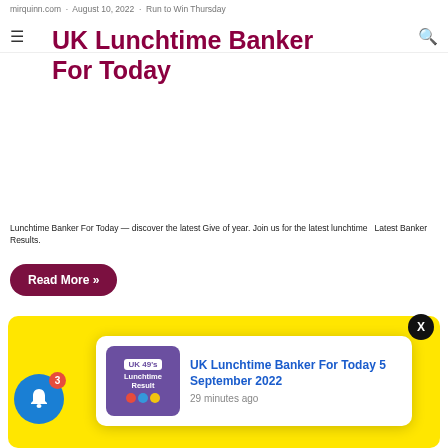mirquinn.com · August 10, 2022 · Run to Win Thursday
UK Lunchtime Banker For Today
Run to Win Thursday March 2022
Lunchtime Banker For Today – discover the latest Give of year. Join us for the latest lunchtime Latest Banker Results.
Read More »
[Figure (photo): Yellow background image with National Daily Lotto branding — a circular National badge and a red pill-shaped Daily Lotto banner]
[Figure (screenshot): Notification popup: UK 49's Lunchtime Result thumbnail, title 'UK Lunchtime Banker For Today 5 September 2022', time '29 minutes ago']
UK Lunchtime Banker For Today 5 September 2022
29 minutes ago